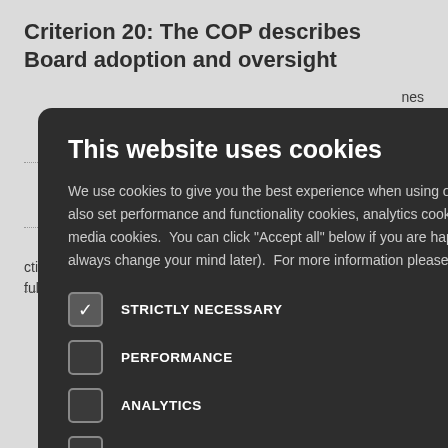Criterion 20: The COP describes Board adoption and oversight
nes
m corporate
e
committee or
th responsibility
e, approves
bility
ctivities that the company plans to undertake by its next COP to fulfill
[Figure (screenshot): Cookie consent modal dialog with dark background. Title: 'This website uses cookies'. Body text explains cookie usage permissions. Options listed with checkboxes: STRICTLY NECESSARY (checked), PERFORMANCE (unchecked), ANALYTICS (unchecked), FUNCTIONALITY (unchecked), SOCIAL MEDIA (unchecked). Close button (X) in top right corner.]